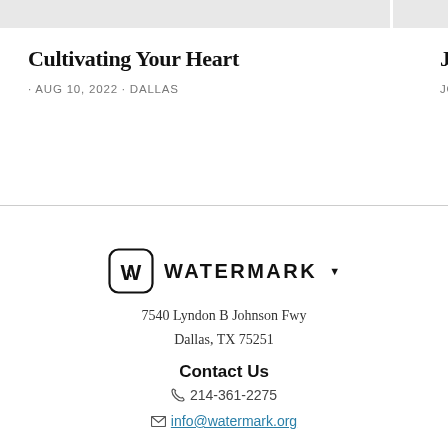[Figure (other): Gray image placeholder bar at top left]
[Figure (other): Gray image placeholder bar at top right (partially visible)]
Cultivating Your Heart
John E
· AUG 10, 2022 · DALLAS
JOHN EL
[Figure (logo): Watermark Community Church logo with stylized W in rounded square and text WATERMARK with dropdown arrow]
7540 Lyndon B Johnson Fwy
Dallas, TX 75251
Contact Us
214-361-2275
info@watermark.org